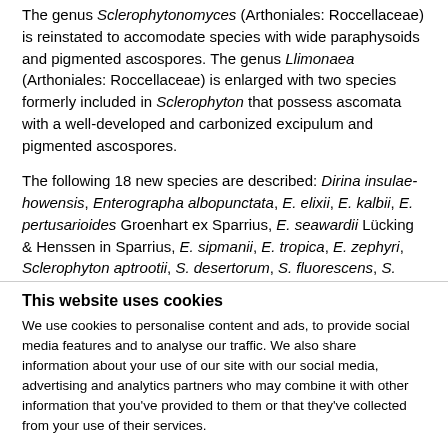The genus Sclerophytonomyces (Arthoniales: Roccellaceae) is reinstated to accomodate species with wide paraphysoids and pigmented ascospores. The genus Llimonaea (Arthoniales: Roccellaceae) is enlarged with two species formerly included in Sclerophyton that possess ascomata with a well-developed and carbonized excipulum and pigmented ascospores.
The following 18 new species are described: Dirina insulae-howensis, Enterographa albopunctata, E. elixii, E. kalbii, E. pertusarioides Groenhart ex Sparrius, E. seawardii Lücking & Henssen in Sparrius, E. sipmanii, E. tropica, E. zephyri, Sclerophyton aptrootii, S. desertorum, S. fluorescens, S. madagascariense, S. murex Egea & Torrente ex Sparrius, S. murifome, S. syncesioides, S. trinidadense and S. vertex.
The following 10 new combinations are proposed: Dirina
This website uses cookies
We use cookies to personalise content and ads, to provide social media features and to analyse our traffic. We also share information about your use of our site with our social media, advertising and analytics partners who may combine it with other information that you've provided to them or that they've collected from your use of their services.